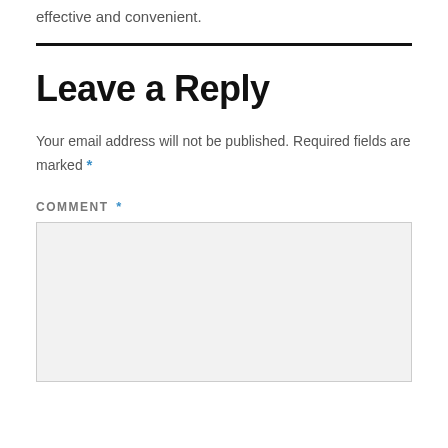effective and convenient.
Leave a Reply
Your email address will not be published. Required fields are marked *
COMMENT *
[Figure (other): Empty comment text area input box with light gray background and border]